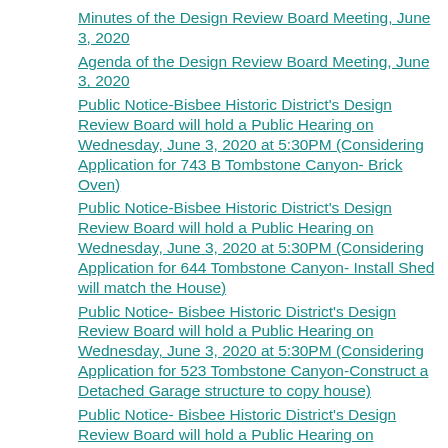Minutes of the Design Review Board Meeting, June 3, 2020
Agenda of the Design Review Board Meeting, June 3, 2020
Public Notice-Bisbee Historic District's Design Review Board will hold a Public Hearing on Wednesday, June 3, 2020 at 5:30PM (Considering Application for 743 B Tombstone Canyon- Brick Oven)
Public Notice-Bisbee Historic District's Design Review Board will hold a Public Hearing on Wednesday, June 3, 2020 at 5:30PM (Considering Application for 644 Tombstone Canyon- Install Shed will match the House)
Public Notice- Bisbee Historic District's Design Review Board will hold a Public Hearing on Wednesday, June 3, 2020 at 5:30PM (Considering Application for 523 Tombstone Canyon-Construct a Detached Garage structure to copy house)
Public Notice- Bisbee Historic District's Design Review Board will hold a Public Hearing on Wednesday, June 3, 2020 at 5:30PM (Considering Application for 635 Tombstone Canyon - Extend Current Deck with Stairs)